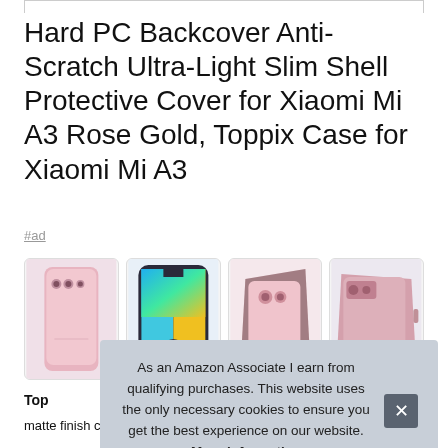Hard PC Backcover Anti-Scratch Ultra-Light Slim Shell Protective Cover for Xiaomi Mi A3 Rose Gold, Toppix Case for Xiaomi Mi A3
#ad
[Figure (photo): Four product images of the Xiaomi Mi A3 phone case in rose gold color]
As an Amazon Associate I earn from qualifying purchases. This website uses the only necessary cookies to ensure you get the best experience on our website. More information
Toppix
matte finish coating gives you an excellent grip. Ultra slim-